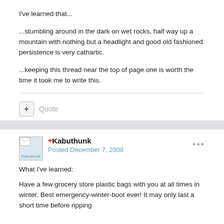I've learned that...
...stumbling around in the dark on wet rocks, half way up a mountain with nothing but a headlight and good old fashioned persistence is very cathartic.
...keeping this thread near the top of page one is worth the time it took me to write this.
Quote
+Kabuthunk
Posted December 7, 2008
What I've learned:
Have a few grocery store plastic bags with you at all times in winter. Best emergency-winter-boot ever! It may only last a short time before ripping